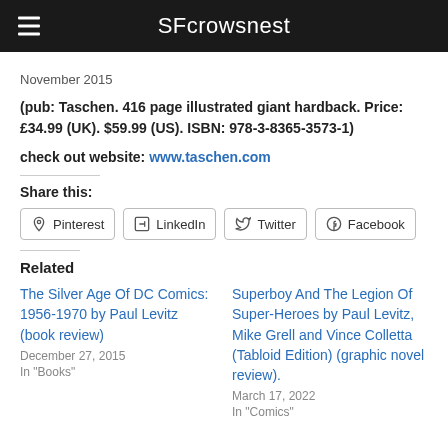SFcrowsnest
November 2015
(pub: Taschen. 416 page illustrated giant hardback. Price: £34.99 (UK). $59.99 (US). ISBN: 978-3-8365-3573-1)
check out website: www.taschen.com
Share this:
Pinterest LinkedIn Twitter Facebook
Related
The Silver Age Of DC Comics: 1956-1970 by Paul Levitz (book review)
December 27, 2015
In "Books"
Superboy And The Legion Of Super-Heroes by Paul Levitz, Mike Grell and Vince Colletta (Tabloid Edition) (graphic novel review).
March 17, 2022
In "Comics"